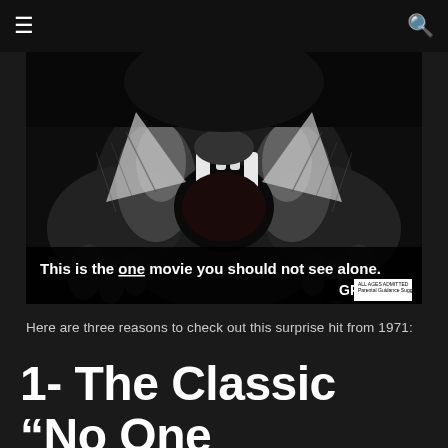≡  🔍
[Figure (photo): Black and white movie poster showing a close-up of a snarling cat or beast from below, with large fangs visible. Text at the bottom reads: 'This is the one movie you should not see alone.' with a GP rating badge in the bottom right corner.]
Here are three reasons to check out this surprise hit from 1971:
1- The Classic “No One Admitted” Poster!